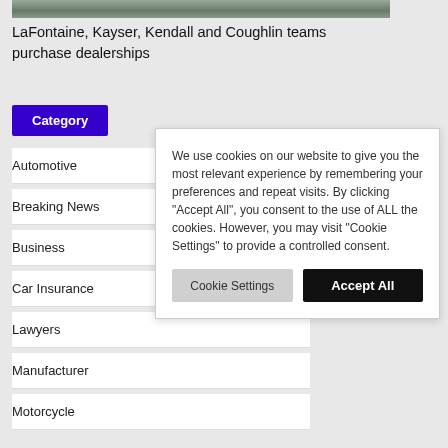[Figure (photo): Photo strip at top of article page showing a vehicle or automotive scene]
LaFontaine, Kayser, Kendall and Coughlin teams purchase dealerships
Category
Automotive
Breaking News
Business
Car Insurance
Lawyers
Manufacturer
Motorcycle
We use cookies on our website to give you the most relevant experience by remembering your preferences and repeat visits. By clicking "Accept All", you consent to the use of ALL the cookies. However, you may visit "Cookie Settings" to provide a controlled consent.